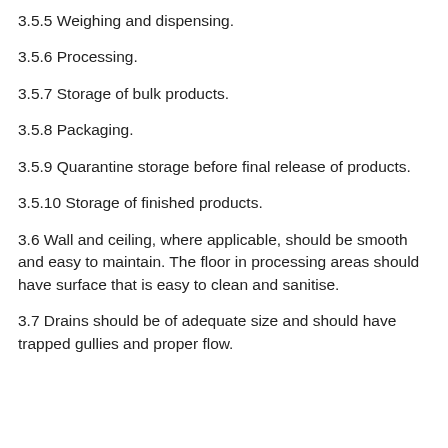3.5.5 Weighing and dispensing.
3.5.6 Processing.
3.5.7 Storage of bulk products.
3.5.8 Packaging.
3.5.9 Quarantine storage before final release of products.
3.5.10 Storage of finished products.
3.6 Wall and ceiling, where applicable, should be smooth and easy to maintain. The floor in processing areas should have surface that is easy to clean and sanitise.
3.7 Drains should be of adequate size and should have trapped gullies and proper flow.